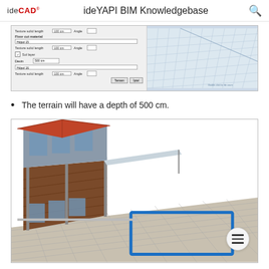ideCAD  ideYAPI BIM Knowledgebase
[Figure (screenshot): Dialog panel for terrain settings showing texture, solid length, angle, floor cut material, sol layer with depth 500 cm fields, alongside a 3D grid tile preview]
The terrain will have a depth of 500 cm.
[Figure (screenshot): 3D rendering of a two-storey building with red roof and wooden facade, showing a terrain grid with a blue rectangular outline for terrain depth, hamburger menu button overlay]